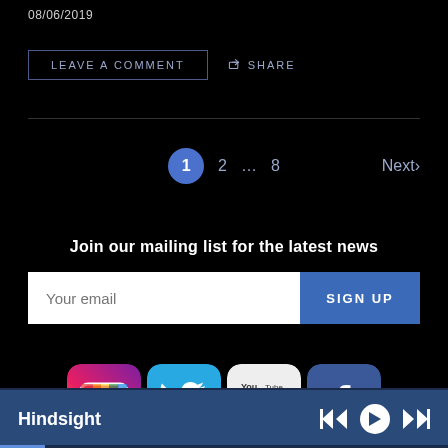08/06/2019
LEAVE A COMMENT   SHARE
1  2  ...  8   Next›
Join our mailing list for the latest news
Your email   SIGN UP
[Figure (logo): Social media icons: Instagram, Twitter, YouTube, Facebook]
Hindsight